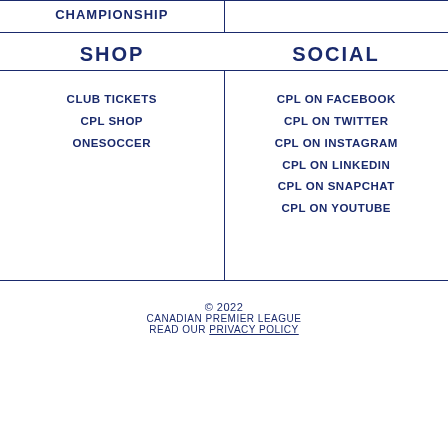CHAMPIONSHIP
SHOP
SOCIAL
CLUB TICKETS
CPL SHOP
ONESOCCER
CPL ON FACEBOOK
CPL ON TWITTER
CPL ON INSTAGRAM
CPL ON LINKEDIN
CPL ON SNAPCHAT
CPL ON YOUTUBE
© 2022
CANADIAN PREMIER LEAGUE
READ OUR PRIVACY POLICY